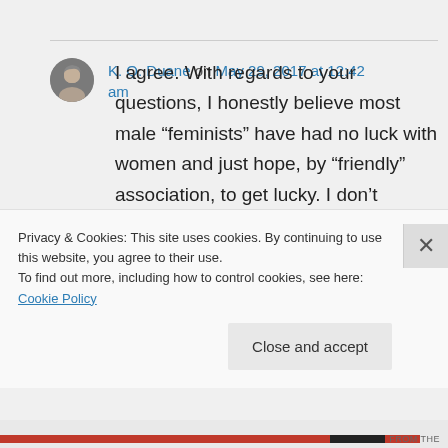K. Q. Duane on May 29, 2017 at 12:42 am
I agree. With regards to your questions, I honestly believe most male “feminists” have had no luck with women and just hope, by “friendly” association, to get lucky. I don’t believe they become feminists to avoid the patriarchal employment
Privacy & Cookies: This site uses cookies. By continuing to use this website, you agree to their use.
To find out more, including how to control cookies, see here: Cookie Policy
Close and accept